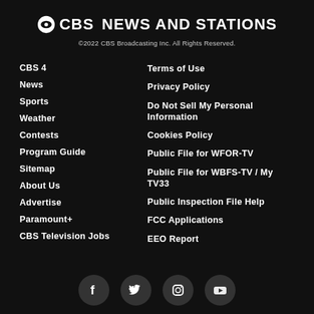CBS NEWS AND STATIONS
©2022 CBS Broadcasting Inc. All Rights Reserved.
CBS 4
News
Sports
Weather
Contests
Program Guide
Sitemap
About Us
Advertise
Paramount+
CBS Television Jobs
Terms of Use
Privacy Policy
Do Not Sell My Personal Information
Cookies Policy
Public File for WFOR-TV
Public File for WBFS-TV / My TV33
Public Inspection File Help
FCC Applications
EEO Report
[Figure (illustration): Social media icons: Facebook, Twitter, Instagram, YouTube]